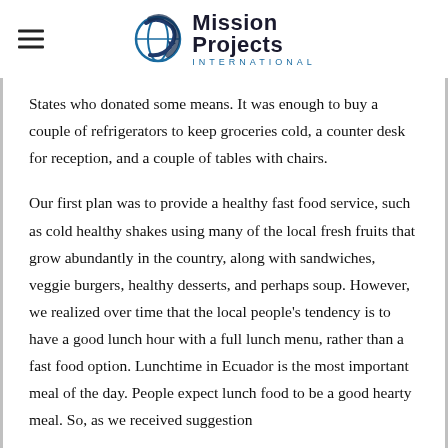Mission Projects International
States who donated some means. It was enough to buy a couple of refrigerators to keep groceries cold, a counter desk for reception, and a couple of tables with chairs.
Our first plan was to provide a healthy fast food service, such as cold healthy shakes using many of the local fresh fruits that grow abundantly in the country, along with sandwiches, veggie burgers, healthy desserts, and perhaps soup. However, we realized over time that the local people’s tendency is to have a good lunch hour with a full lunch menu, rather than a fast food option. Lunchtime in Ecuador is the most important meal of the day. People expect lunch food to be a good hearty meal. So, as we received suggestion